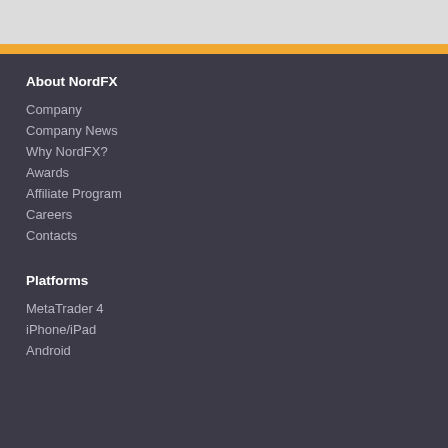About NordFX
Company
Company News
Why NordFX?
Awards
Affiliate Program
Careers
Contacts
Platforms
MetaTrader 4
iPhone/iPad
Android